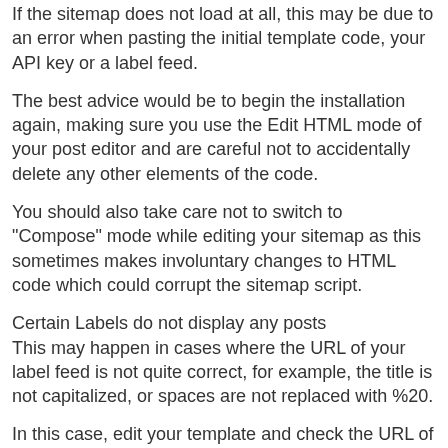If the sitemap does not load at all, this may be due to an error when pasting the initial template code, your API key or a label feed.
The best advice would be to begin the installation again, making sure you use the Edit HTML mode of your post editor and are careful not to accidentally delete any other elements of the code.
You should also take care not to switch to "Compose" mode while editing your sitemap as this sometimes makes involuntary changes to HTML code which could corrupt the sitemap script.
Certain Labels do not display any posts
This may happen in cases where the URL of your label feed is not quite correct, for example, the title is not capitalized, or spaces are not replaced with %20.
In this case, edit your template and check the URL of the offending label feed carefully for any involuntary errors. Make changes as appropriate, and save your template.